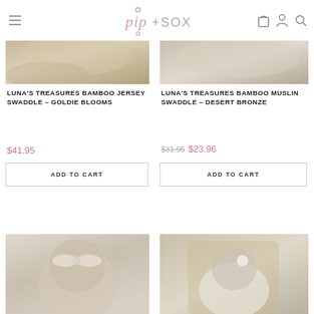pip+SOX
[Figure (photo): Product image for Luna's Treasures Bamboo Jersey Swaddle - Goldie Blooms (cropped top portion)]
LUNA'S TREASURES BAMBOO JERSEY SWADDLE – GOLDIE BLOOMS
$41.95
ADD TO CART
[Figure (photo): Product image for Luna's Treasures Bamboo Muslin Swaddle - Desert Bronze (cropped top portion)]
LUNA'S TREASURES BAMBOO MUSLIN SWADDLE – DESERT BRONZE
$31.95 $23.96
ADD TO CART
[Figure (photo): Product photo bottom left - baby wearing floral headband]
[Figure (photo): Product photo bottom right - swaddled baby in wicker chair]